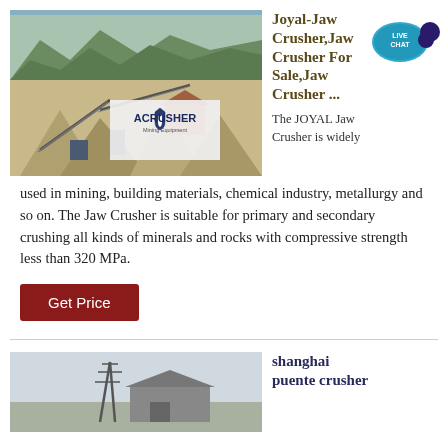[Figure (photo): Aerial/wide view of a mining/quarry site with conveyors and aggregate piles, with ACRUSHER Mining Equipment logo overlay]
Joyal-Jaw Crusher,Jaw Crusher For Sale,Jaw Crusher ...
[Figure (illustration): Live Chat speech bubble icon with dark teal/purple background and text LIVE CHAT]
The JOYAL Jaw Crusher is widely used in mining, building materials, chemical industry, metallurgy and so on. The Jaw Crusher is suitable for primary and secondary crushing all kinds of minerals and rocks with compressive strength less than 320 MPa.
Get Price
[Figure (photo): Industrial site with a tower/pylon structure and shed/warehouse visible]
shanghai puente crusher